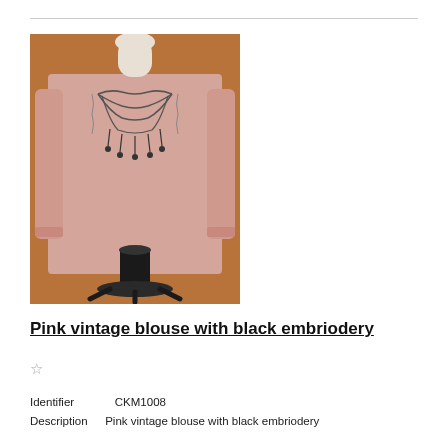[Figure (photo): A pink vintage blouse with black chain and bead embroidery displayed on a mannequin stand against a wooden background.]
Pink vintage blouse with black embriodery
☆
Identifier    CKM1008
Description Pink vintage blouse with black embriodery